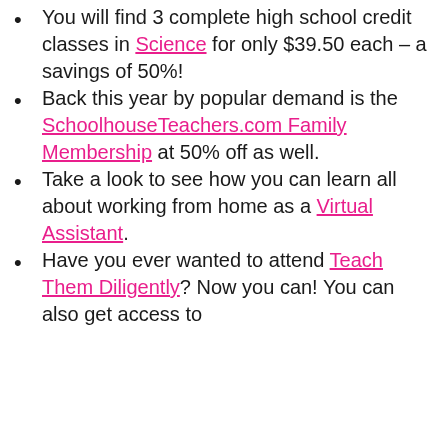You will find 3 complete high school credit classes in Science for only $39.50 each – a savings of 50%!
Back this year by popular demand is the SchoolhouseTeachers.com Family Membership at 50% off as well.
Take a look to see how you can learn all about working from home as a Virtual Assistant.
Have you ever wanted to attend Teach Them Diligently? Now you can! You can also get access to